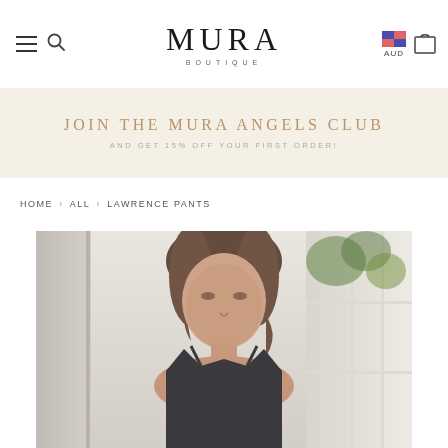MURA BOUTIQUE — navigation header with hamburger menu, search icon, logo, currency selector (AUD), and cart icon
[Figure (infographic): Promotional banner with cream/beige background. Large text: JOIN THE MURA ANGELS CLUB. Subtext: AND GET 15% OFF YOUR FIRST ORDER!]
HOME › ALL › LAWRENCE PANTS
[Figure (photo): Fashion product photo of a woman with shoulder-length wavy brown hair wearing a dark navy/black sleeveless top or bodysuit, standing in a light-filled room with white window frames and green foliage visible outside. The photo is cropped at mid-torso.]